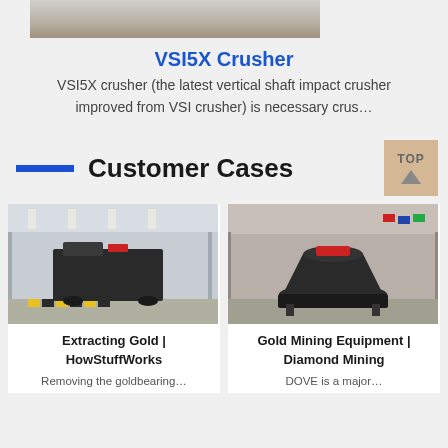[Figure (photo): Top partial image of industrial equipment/crusher]
VSI5X Crusher
VSI5X crusher (the latest vertical shaft impact crusher improved from VSI crusher) is necessary crus…
Customer Cases
[Figure (photo): Industrial facility with large black mining/crushing machine on warehouse floor with yellow safety markings]
[Figure (photo): Cone crusher equipment in industrial facility with international flags in background]
Extracting Gold | HowStuffWorks
Gold Mining Equipment | Diamond Mining
Removing the goldbearing…
DOVE is a major…